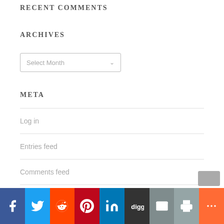RECENT COMMENTS
ARCHIVES
[Figure (other): Select Month dropdown widget]
META
Log in
Entries feed
Comments feed
WordPress.org
[Figure (other): Social sharing bar with icons: Facebook, Twitter, Reddit, Pinterest, LinkedIn, Digg, Email, Print, More]